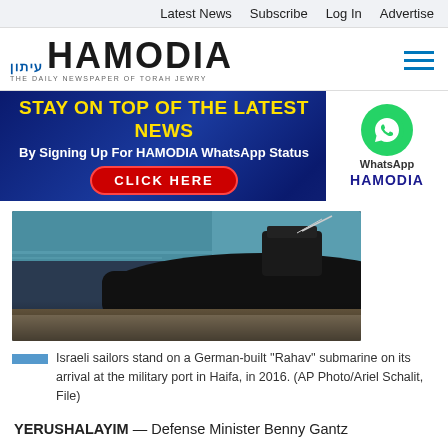Latest News   Subscribe   Log In   Advertise
[Figure (logo): Hamodia newspaper logo with Hebrew prefix and tagline 'THE DAILY NEWSPAPER OF TORAH JEWRY']
[Figure (infographic): Advertisement banner: 'STAY ON TOP OF THE LATEST NEWS By Signing Up For HAMODIA WhatsApp Status CLICK HERE' with WhatsApp logo and HAMODIA branding]
[Figure (photo): Israeli sailors stand on a German-built Rahav submarine on its arrival at the military port in Haifa, in 2016.]
Israeli sailors stand on a German-built ''Rahav'' submarine on its arrival at the military port in Haifa, in 2016. (AP Photo/Ariel Schalit, File)
YERUSHALAYIM — Defense Minister Benny Gantz Wednesday filed his proposal for the establishment of a